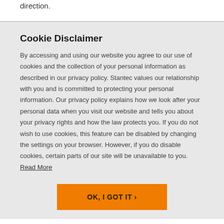it basically Polaris owners and operators in the right direction.
Cookie Disclaimer
By accessing and using our website you agree to our use of cookies and the collection of your personal information as described in our privacy policy. Stantec values our relationship with you and is committed to protecting your personal information. Our privacy policy explains how we look after your personal data when you visit our website and tells you about your privacy rights and how the law protects you. If you do not wish to use cookies, this feature can be disabled by changing the settings on your browser. However, if you do disable cookies, certain parts of our site will be unavailable to you. Read More
OK, I GOT IT ›